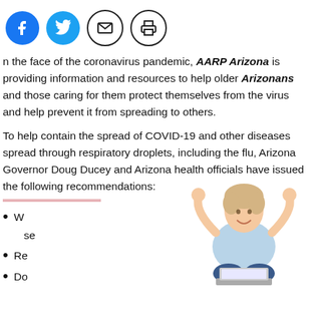[Figure (infographic): Row of social media sharing icons: Facebook (blue circle), Twitter (blue circle), email (black outline circle with envelope), print (black outline circle with printer)]
In the face of the coronavirus pandemic, AARP Arizona is providing information and resources to help older Arizonans and those caring for them protect themselves from the virus and help prevent it from spreading to others.
To help contain the spread of COVID-19 and other diseases spread through respiratory droplets, including the flu, Arizona Governor Doug Ducey and Arizona health officials have issued the following recommendations:
W... east 20... se...
Re...
Do...
[Figure (photo): Woman with short blonde hair sitting cross-legged with arms raised in celebration, with a laptop in front of her, wearing a light blue shirt and jeans]